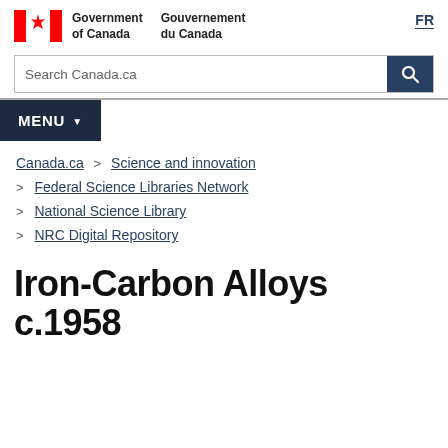Government of Canada / Gouvernement du Canada
Search Canada.ca
MENU
Canada.ca > Science and innovation > Federal Science Libraries Network > National Science Library > NRC Digital Repository
Iron-Carbon Alloys c.1958